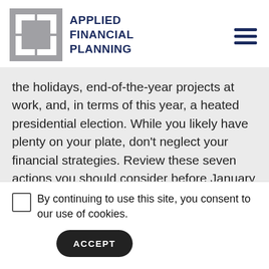APPLIED FINANCIAL PLANNING
the holidays, end-of-the-year projects at work, and, in terms of this year, a heated presidential election. While you likely have plenty on your plate, don't neglect your financial strategies. Review these seven actions you should consider before January 1st.
1. Maximize Your
By continuing to use this site, you consent to our use of cookies.
ACCEPT